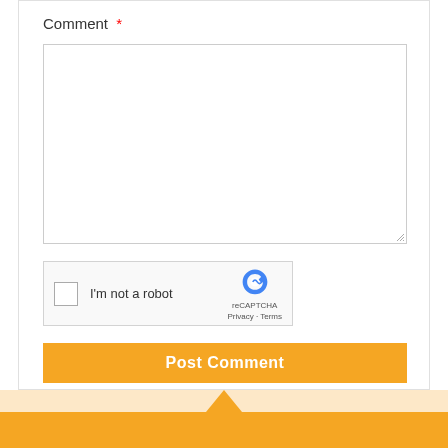Comment *
[Figure (screenshot): Empty textarea input field for comment entry with resize handle in bottom-right corner]
[Figure (screenshot): reCAPTCHA widget with checkbox labeled 'I'm not a robot' and Google reCAPTCHA logo with Privacy and Terms links]
Post Comment